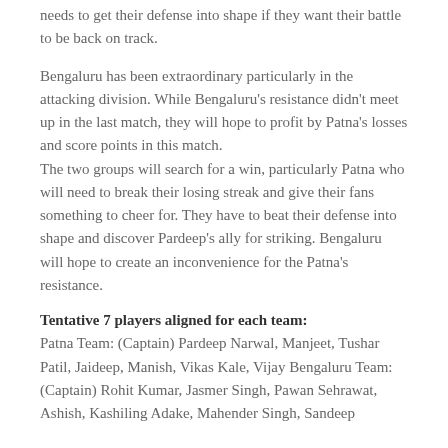needs to get their defense into shape if they want their battle to be back on track.
Bengaluru has been extraordinary particularly in the attacking division. While Bengaluru's resistance didn't meet up in the last match, they will hope to profit by Patna's losses and score points in this match. The two groups will search for a win, particularly Patna who will need to break their losing streak and give their fans something to cheer for. They have to beat their defense into shape and discover Pardeep's ally for striking. Bengaluru will hope to create an inconvenience for the Patna's resistance.
Tentative 7 players aligned for each team:
Patna Team: (Captain) Pardeep Narwal, Manjeet, Tushar Patil, Jaideep, Manish, Vikas Kale, Vijay Bengaluru Team: (Captain) Rohit Kumar, Jasmer Singh, Pawan Sehrawat, Ashish, Kashiling Adake, Mahender Singh, Sandeep